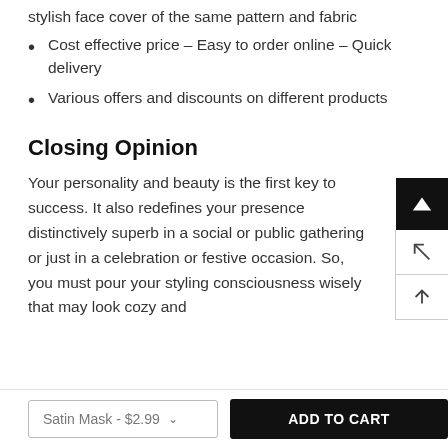stylish face cover of the same pattern and fabric
Cost effective price – Easy to order online – Quick delivery
Various offers and discounts on different products
Closing Opinion
Your personality and beauty is the first key to success. It also redefines your presence distinctively superb in a social or public gathering or just in a celebration or festive occasion. So, you must pour your styling consciousness wisely that may look cozy and...
Satin Mask - $2.99
ADD TO CART